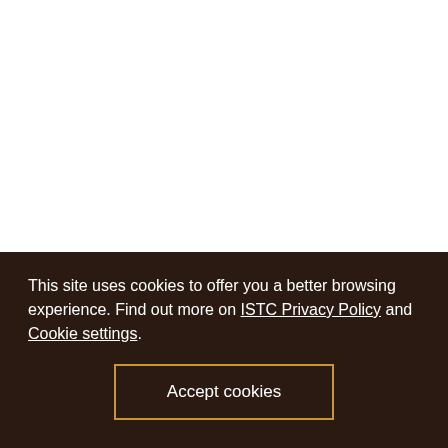11 december 2017
ISTC assists young Africans in spreading
This site uses cookies to offer you a better browsing experience. Find out more on ISTC Privacy Policy and Cookie settings.
Accept cookies